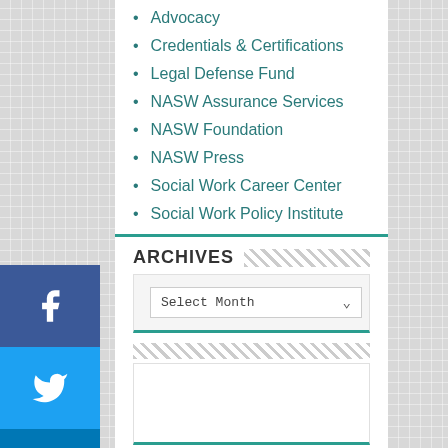Advocacy
Credentials & Certifications
Legal Defense Fund
NASW Assurance Services
NASW Foundation
NASW Press
Social Work Career Center
Social Work Policy Institute
ARCHIVES
Select Month